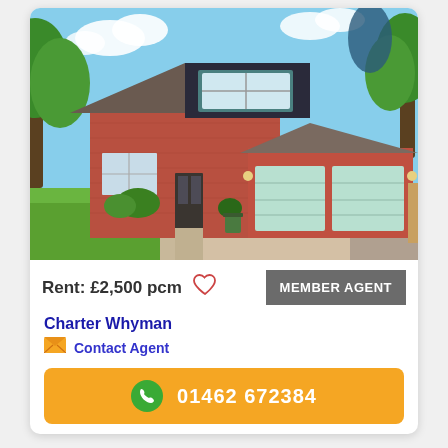[Figure (photo): Exterior photo of a detached UK house with double garage doors (light blue/cream), red brick walls, tiled roof with dormer window, surrounded by green lawn and trees on a sunny day.]
Rent: £2,500 pcm
MEMBER AGENT
Charter Whyman
Contact Agent
01462 672384